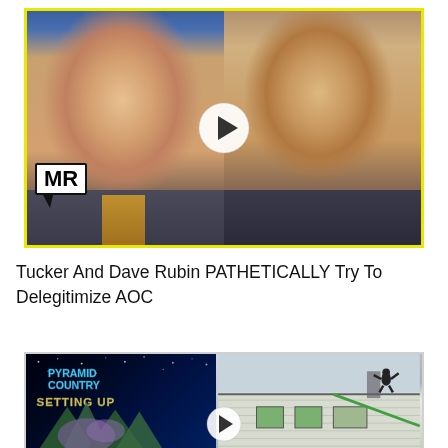[Figure (screenshot): Video thumbnail showing Tucker Carlson on the left and Dave Rubin on the right, with a yellow border and an MR (Majority Report) speech bubble logo in the lower left. A white play button is in the center.]
Tucker And Dave Rubin PATHETICALLY Try To Delegitimize AOC
[Figure (screenshot): Second video thumbnail showing Pyramid Country skate video on the left with space/game art imagery and text 'PYRAMID COUNTRY SETTING UP', and on the right a skateboarder performing a trick on a rooftop. A white play button is visible at the bottom center.]